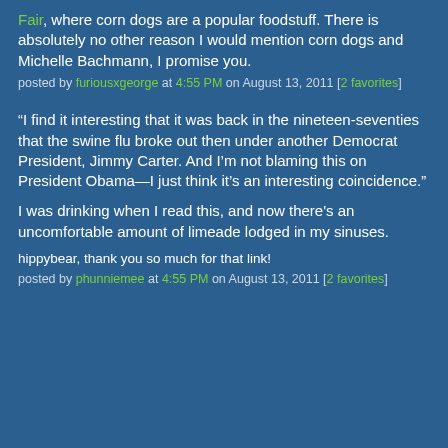Fair, where corn dogs are a popular foodstuff. There is absolutely no other reason I would mention corn dogs and Michelle Bachmann, I promise you.
posted by furiousxgeorge at 4:55 PM on August 13, 2011 [2 favorites]
“I find it interesting that it was back in the nineteen-seventies that the swine flu broke out then under another Democrat President, Jimmy Carter. And I’m not blaming this on President Obama—I just think it’s an interesting coincidence.”
I was drinking when I read this, and now there's an uncomfortable amount of limeade lodged in my sinuses.
hippybear, thank you so much for that link!
posted by phunniemee at 4:55 PM on August 13, 2011 [2 favorites]